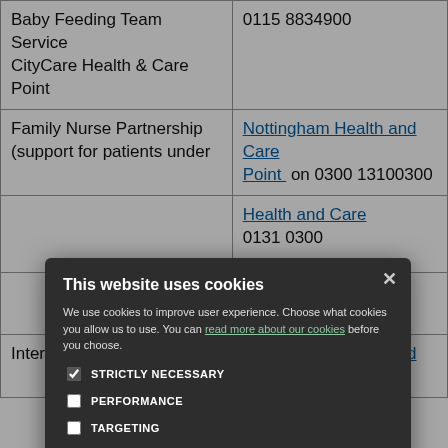| Service | Contact |
| --- | --- |
| Baby Feeding Team Service CityCare Health & Care Point | 0115 8834900 |
| Family Nurse Partnership (support for patients under [age threshold]) | Nottingham Health and Care Point on 0300 13100300 |
| [Service name] | Health and Care Point 0131 0300 |
| [Service name] | Health and Care Point 0 131 0300 |
| Intermediate Care | Nottingham Health and Care |
Cookie consent dialog: This website uses cookies. We use cookies to improve user experience. Choose what cookies you allow us to use. You can read more about our cookies before you choose. Options: STRICTLY NECESSARY (checked), PERFORMANCE, TARGETING, FUNCTIONALITY. Buttons: ACCEPT ALL, DECLINE ALL.